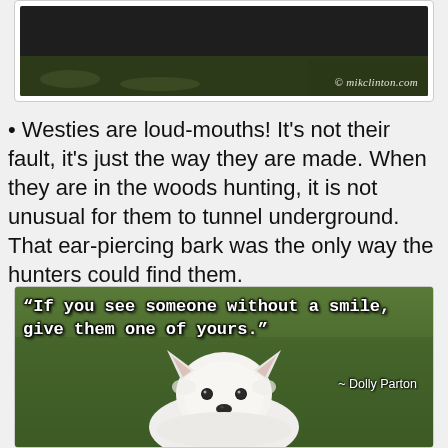[Figure (photo): Top portion of a photo showing a dark outdoor scene with grass/ground, watermarked with © mikclinton.com]
Westies are loud-mouths! It's not their fault, it's just the way they are made. When they are in the woods hunting, it is not unusual for them to tunnel underground. That ear-piercing bark was the only way the hunters could find them.
[Figure (photo): Photo of a white Westie dog on grass with overlaid quote text: "If you see someone without a smile, give them one of yours." ~ Dolly Parton]